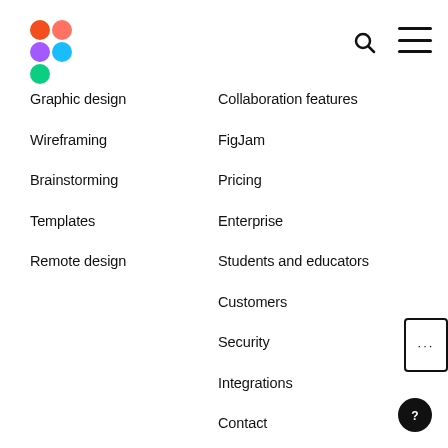[Figure (logo): Figma logo — four colored circles/shapes arranged in a 2x2 grid forming the Figma mark, in red, pink, purple, blue, and green]
Graphic design
Collaboration features
Wireframing
FigJam
Brainstorming
Pricing
Templates
Enterprise
Remote design
Students and educators
Customers
Security
Integrations
Contact